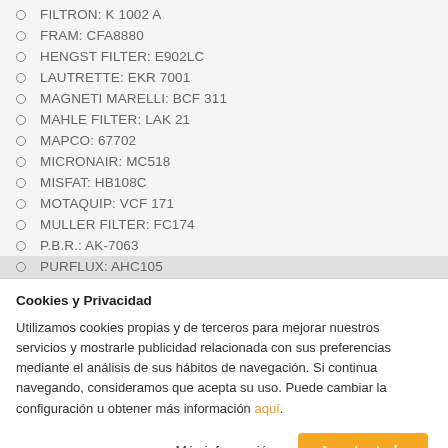FILTRON: K 1002 A
FRAM: CFA8880
HENGST FILTER: E902LC
LAUTRETTE: EKR 7001
MAGNETI MARELLI: BCF 311
MAHLE FILTER: LAK 21
MAPCO: 67702
MICRONAIR: MC518
MISFAT: HB108C
MOTAQUIP: VCF 171
MULLER FILTER: FC174
P.B.R.: AK-7063
PURFLUX: AHC105
Cookies y Privacidad
Utilizamos cookies propias y de terceros para mejorar nuestros servicios y mostrarle publicidad relacionada con sus preferencias mediante el análisis de sus hábitos de navegación. Si continua navegando, consideramos que acepta su uso. Puede cambiar la configuración u obtener más información aquí.
Más información | Aceptar todo